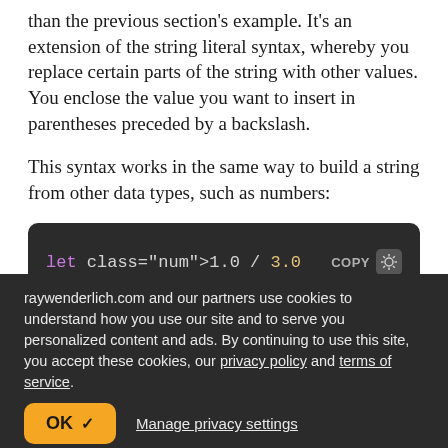than the previous section's example. It's an extension of the string literal syntax, whereby you replace certain parts of the string with other values. You enclose the value you want to insert in parentheses preceded by a backslash.
This syntax works in the same way to build a string from other data types, such as numbers:
[Figure (screenshot): Code block showing: let oneThird = 1.0 / 3.0, with COPY button and sun icon on dark background]
raywenderlich.com and our partners use cookies to understand how you use our site and to serve you personalized content and ads. By continuing to use this site, you accept these cookies, our privacy policy and terms of service.
OK ✓   Manage privacy settings